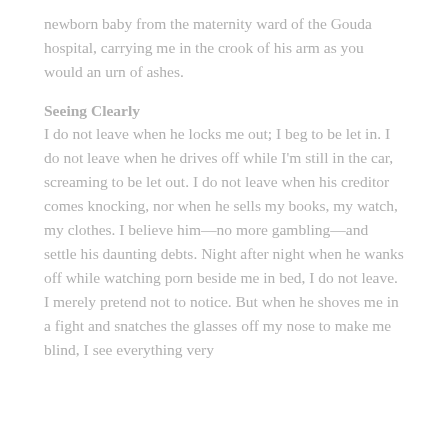newborn baby from the maternity ward of the Gouda hospital, carrying me in the crook of his arm as you would an urn of ashes.
Seeing Clearly
I do not leave when he locks me out; I beg to be let in. I do not leave when he drives off while I'm still in the car, screaming to be let out. I do not leave when his creditor comes knocking, nor when he sells my books, my watch, my clothes. I believe him—no more gambling—and settle his daunting debts. Night after night when he wanks off while watching porn beside me in bed, I do not leave. I merely pretend not to notice. But when he shoves me in a fight and snatches the glasses off my nose to make me blind, I see everything very